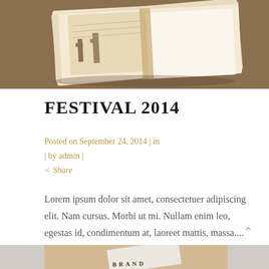[Figure (photo): Photo of an open book or notebook with illustrated/map pages, lying on a wooden surface. Warm brown tones with illustrated desert scene visible.]
FESTIVAL 2014
Posted on September 24, 2014 | in | by admin |
< Share
Lorem ipsum dolor sit amet, consectetuer adipiscing elit. Nam cursus. Morbi ut mi. Nullam enim leo, egestas id, condimentum at, laoreet mattis, massa....
[Figure (photo): Partial view of branding materials on light gray background, showing kraft paper/wood material with 'BRAND' text visible at the bottom of the page.]